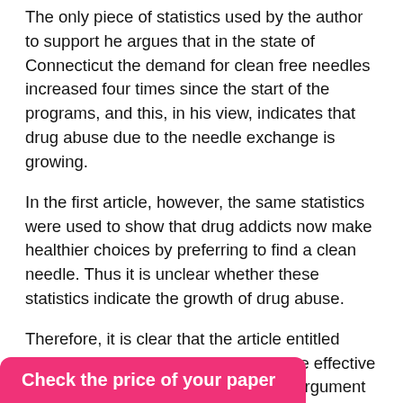The only piece of statistics used by the author to support he argues that in the state of Connecticut the demand for clean free needles increased four times since the start of the programs, and this, in his view, indicates that drug abuse due to the needle exchange is growing.
In the first article, however, the same statistics were used to show that drug addicts now make healthier choices by preferring to find a clean needle. Thus it is unclear whether these statistics indicate the growth of drug abuse.
Therefore, it is clear that the article entitled Clean Needles Benefit Society is more effective and convincing in its arguments and argument support to prove that the needle exchange programs are indeed working, and thus require additional
Check the price of your paper